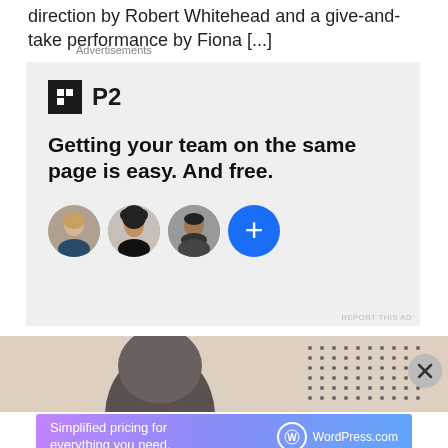direction by Robert Whitehead and a give-and-take performance by Fiona [...]
Advertisements
[Figure (infographic): P2 advertisement with logo, headline 'Getting your team on the same page is easy. And free.' and three circular avatar photos plus a blue plus button]
Advertisements
[Figure (photo): Partial image of a person's head and dotted background]
[Figure (infographic): WordPress.com advertisement banner: 'Simplified pricing for everything you need.' with WordPress.com logo on gradient background]